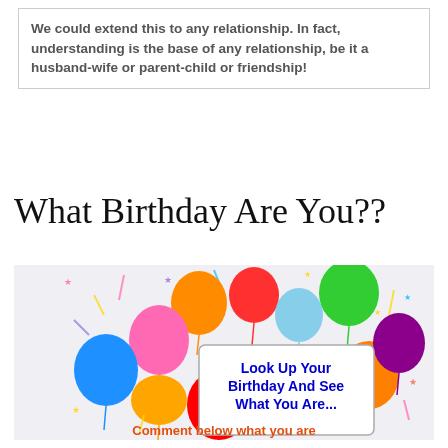We could extend this to any relationship. In fact, understanding is the base of any relationship, be it a husband-wife or parent-child or friendship!
What Birthday Are You??
[Figure (illustration): Colorful birthday balloons illustration with a sign reading 'Look Up Your Birthday And See What You Are...']
Comment below what you are